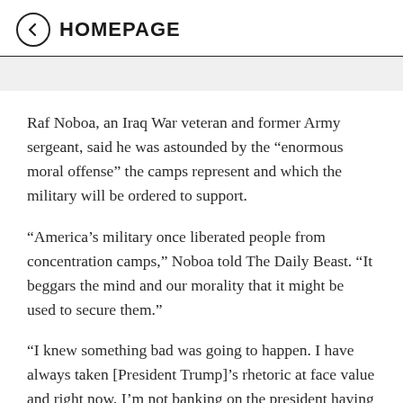HOMEPAGE
Raf Noboa, an Iraq War veteran and former Army sergeant, said he was astounded by the “enormous moral offense” the camps represent and which the military will be ordered to support.
“America’s military once liberated people from concentration camps,” Noboa told The Daily Beast. “It beggars the mind and our morality that it might be used to secure them.”
“I knew something bad was going to happen. I have always taken [President Trump]’s rhetoric at face value and right now, I’m not banking on the president having